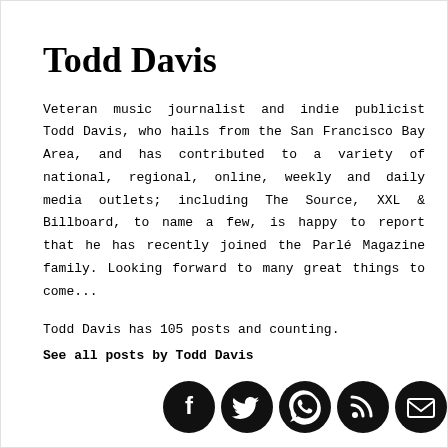Todd Davis
Veteran music journalist and indie publicist Todd Davis, who hails from the San Francisco Bay Area, and has contributed to a variety of national, regional, online, weekly and daily media outlets; including The Source, XXL & Billboard, to name a few, is happy to report that he has recently joined the Parlé Magazine family. Looking forward to many great things to come...
Todd Davis has 105 posts and counting.
See all posts by Todd Davis
[Figure (infographic): Row of five circular black social media icons: Facebook (f), Twitter (bird), WhatsApp (phone), RSS (signal), Email (envelope)]